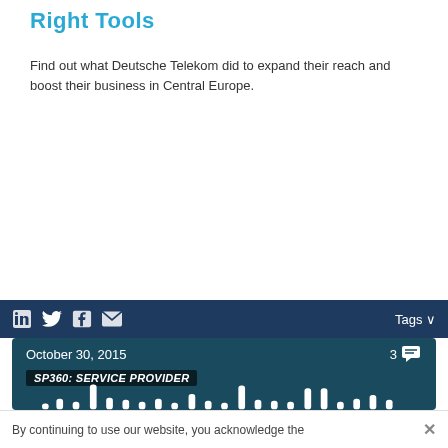Right Tools
Find out what Deutsche Telekom did to expand their reach and boost their business in Central Europe.
[Figure (screenshot): Dark navy toolbar with social sharing icons (LinkedIn, Twitter, Facebook, email) on the left and 'Tags ∨' on the right]
[Figure (screenshot): Dark teal card showing 'October 30, 2015' date with 3 comments icon, 'SP360: SERVICE PROVIDER' tag label, and a bar chart visualization with white bars of varying heights]
By continuing to use our website, you acknowledge the